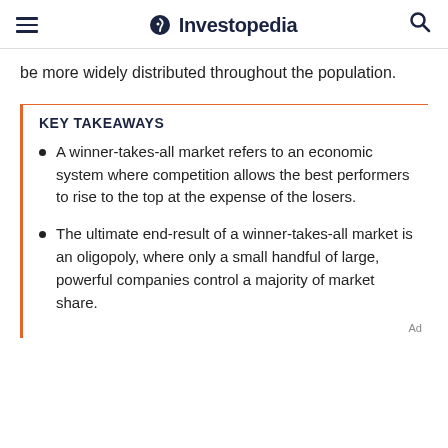Investopedia
be more widely distributed throughout the population.
KEY TAKEAWAYS
A winner-takes-all market refers to an economic system where competition allows the best performers to rise to the top at the expense of the losers.
The ultimate end-result of a winner-takes-all market is an oligopoly, where only a small handful of large, powerful companies control a majority of market share.